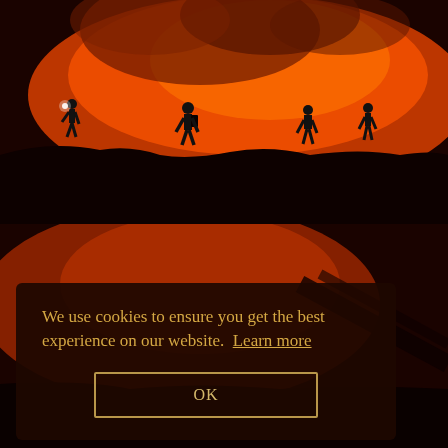[Figure (photo): Silhouettes of four people walking along a volcanic ridge against a bright orange glowing lava background with dark smoke, one person appears to have a headlamp light on the left side.]
[Figure (photo): Partial view of a similar volcanic scene with reddish-orange glow, darker and partially obscured by the cookie consent dialog overlay.]
We use cookies to ensure you get the best experience on our website. Learn more
OK